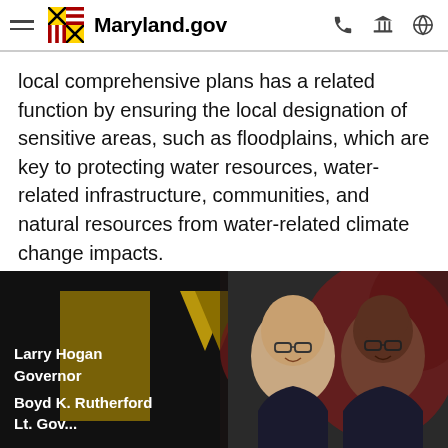Maryland.gov
local comprehensive plans has a related function by ensuring the local designation of sensitive areas, such as floodplains, which are key to protecting water resources, water-related infrastructure, communities, and natural resources from water-related climate change impacts.
[Figure (photo): Footer banner with Maryland state officials photo. Larry Hogan (Governor) and Boyd K. Rutherford (Lt. Governor) pictured with Maryland state flag in background. Dark/black background with gold design elements.]